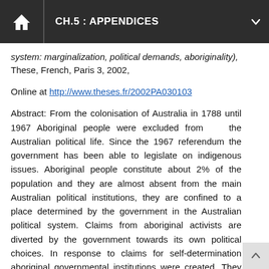CH.5 : APPENDICES
system: marginalization, political demands, aboriginality), These, French, Paris 3, 2002,
Online at http://www.theses.fr/2002PA030103
Abstract: From the colonisation of Australia in 1788 until 1967 Aboriginal people were excluded from the Australian political life. Since the 1967 referendum the government has been able to legislate on indigenous issues. Aboriginal people constitute about 2% of the population and they are almost absent from the main Australian political institutions, they are confined to a place determined by the government in the Australian political system. Claims from aboriginal activists are diverted by the government towards its own political choices. In response to claims for self-determination aboriginal governmental institutions were created. They were supposed to participate in the decision-making process